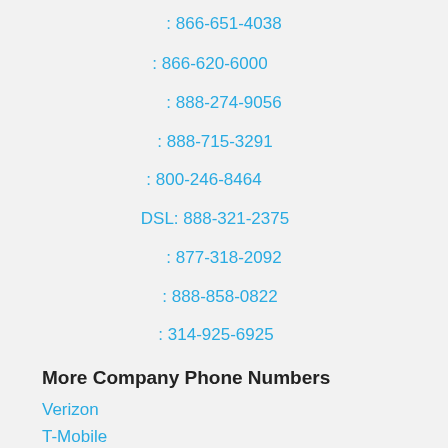: 866-651-4038
: 866-620-6000
: 888-274-9056
: 888-715-3291
: 800-246-8464
DSL: 888-321-2375
: 877-318-2092
: 888-858-0822
: 314-925-6925
More Company Phone Numbers
Verizon
T-Mobile